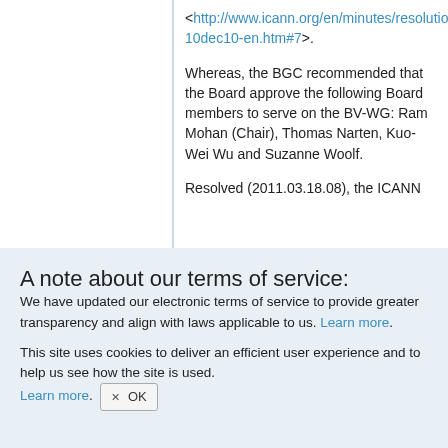<http://www.icann.org/en/minutes/resolutions-10dec10-en.htm#7>.
Whereas, the BGC recommended that the Board approve the following Board members to serve on the BV-WG: Ram Mohan (Chair), Thomas Narten, Kuo-Wei Wu and Suzanne Woolf.
Resolved (2011.03.18.08), the ICANN
A note about our terms of service:
We have updated our electronic terms of service to provide greater transparency and align with laws applicable to us. Learn more.
This site uses cookies to deliver an efficient user experience and to help us see how the site is used. Learn more. OK